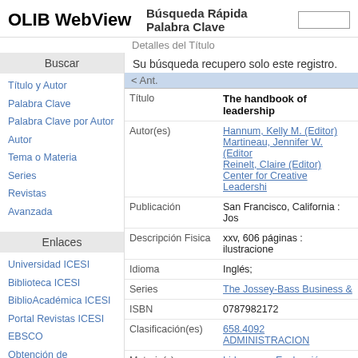OLIB WebView — Búsqueda Rápida Palabra Clave
Detalles del Título
Buscar
Título y Autor
Palabra Clave
Palabra Clave por Autor
Autor
Tema o Materia
Series
Revistas
Avanzada
Enlaces
Universidad ICESI
Biblioteca ICESI
BiblioAcadémica ICESI
Portal Revistas ICESI
EBSCO
Obtención de Documentos
Su búsqueda recupero solo este registro.
| Field | Value |
| --- | --- |
| Título | The handbook of leadership |
| Autor(es) | Hannum, Kelly M. (Editor)
Martineau, Jennifer W. (Editor)
Reinelt, Claire (Editor)
Center for Creative Leadership |
| Publicación | San Francisco, California : Jos |
| Descripción Fisica | xxv, 606 páginas : ilustracione |
| Idioma | Inglés; |
| Series | The Jossey-Bass Business & |
| ISBN | 0787982172 |
| Clasificación(es) | 658.4092
ADMINISTRACION |
| Materia(s) | Liderazgo - Evaluación; |
| Nota(s) | "A joint publication of the Joss series and the Center for Crea Incluve referencias bibliográfi |